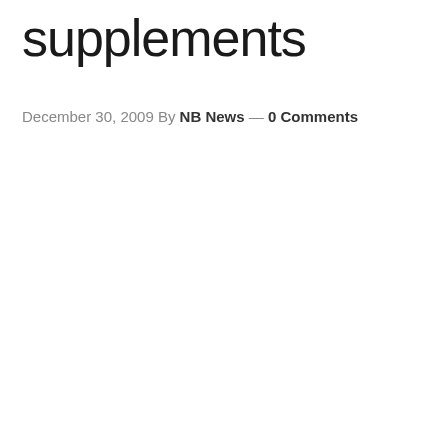supplements
December 30, 2009 By NB News — 0 Comments